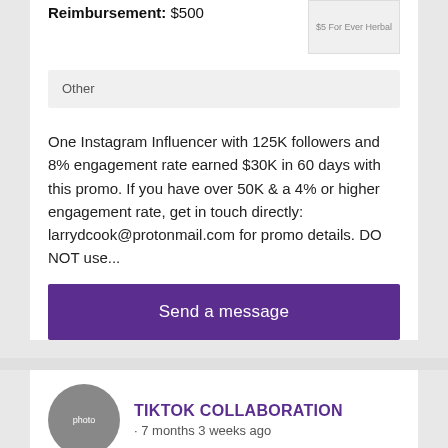Reimbursement: $500
Other
One Instagram Influencer with 125K followers and 8% engagement rate earned $30K in 60 days with this promo. If you have over 50K & a 4% or higher engagement rate, get in touch directly: larrydcook@protonmail.com for promo details. DO NOT use...
Send a message
TIKTOK COLLABORATION
· 7 months 3 weeks ago
Contact: Chichen Kulina Wati
Location: United States